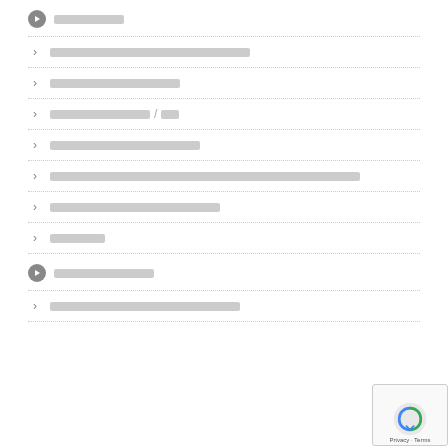[Redacted section header with icon]
[Redacted list item 1]
[Redacted list item 2]
[Redacted list item 3 with slash]
[Redacted list item 4]
[Redacted list item 5 - long]
[Redacted list item 6]
[Redacted list item 7]
[Redacted section header 2 with icon]
[Redacted list item 8]